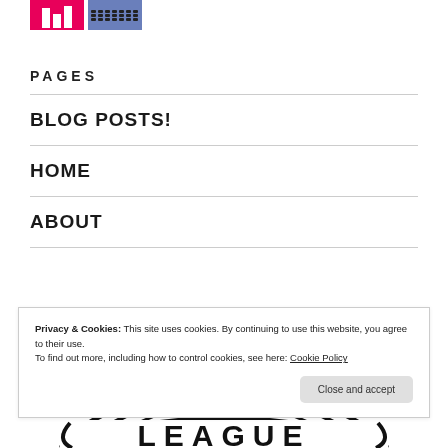[Figure (photo): Two small thumbnail images: a pink/red bar chart image and a blue keyboard/laptop image]
PAGES
BLOG POSTS!
HOME
ABOUT
[Figure (logo): Partial circular logo at the bottom of the page, black and white, with text LEAGUE partially visible]
Privacy & Cookies: This site uses cookies. By continuing to use this website, you agree to their use.
To find out more, including how to control cookies, see here: Cookie Policy